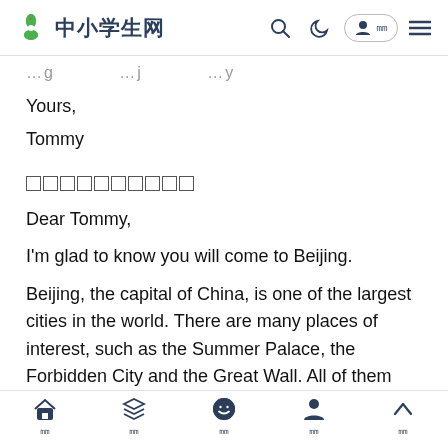中小学生网
...g ...j ...y
Yours,
Tommy
□□□□□□□□□□
Dear Tommy,
I'm glad to know you will come to Beijing.
Beijing, the capital of China, is one of the largest cities in the world. There are many places of interest, such as the Summer Palace, the Forbidden City and the Great Wall. All of them are beautiful and well-known to the world.
首页 发现 我的 我的 回顶